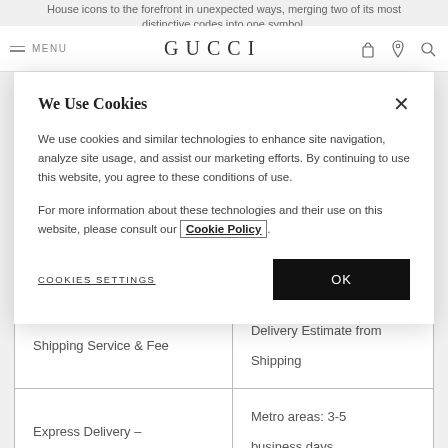GUCCI — MENU navigation bar with hamburger menu, bag icon, location icon, search icon
House icons to the forefront in unexpected ways, merging two of its most distinctive codes into one symbol.
We Use Cookies
We use cookies and similar technologies to enhance site navigation, analyze site usage, and assist our marketing efforts. By continuing to use this website, you agree to these conditions of use.
For more information about these technologies and their use on this website, please consult our Cookie Policy.
COOKIES SETTINGS
OK
| Shipping Service & Fee | Delivery Estimate from Shipping |
| --- | --- |
| Express Delivery – | Metro areas: 3-5 business days |